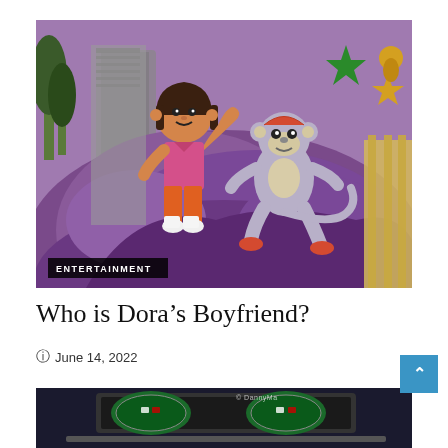[Figure (photo): Photo of large Dora the Explorer and Boots character statues on a purple mountain/rock backdrop at a theme park, with green and yellow stars in background. ENTERTAINMENT label overlay at bottom left.]
Who is Dora's Boyfriend?
June 14, 2022
[Figure (photo): Partial photo of a laptop displaying poker/gaming websites, with © DannyMa watermark visible.]